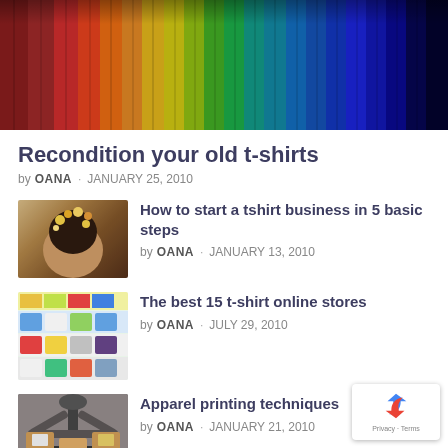[Figure (photo): Colorful hanging fabric or curtains in a rainbow of colors from red/maroon on the left to dark blue/black on the right]
Recondition your old t-shirts
by OANA · JANUARY 25, 2010
[Figure (photo): Person with decorative hair accessories, related to tshirt business article thumbnail]
How to start a tshirt business in 5 basic steps
by OANA · JANUARY 13, 2010
[Figure (photo): Grid of t-shirt designs shown in an online store thumbnail]
The best 15 t-shirt online stores
by OANA · JULY 29, 2010
[Figure (photo): Screen printing press machine for apparel printing techniques thumbnail]
Apparel printing techniques
by OANA · JANUARY 21, 2010